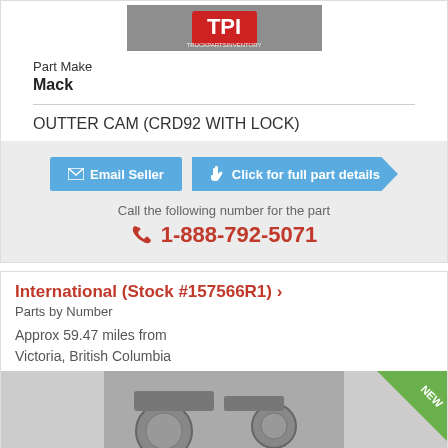[Figure (logo): TPI TruckPartsInventory logo with truck engine background image]
Part Make
Mack
OUTTER CAM (CRD92 WITH LOCK)
Email Seller
Click for full part details
Call the following number for the part
1-888-792-5071
International (Stock #157566R1) ›
Parts by Number
Approx 59.47 miles from
Victoria, British Columbia
[Figure (photo): Truck parts inventory photo with NEW badge in top right corner]